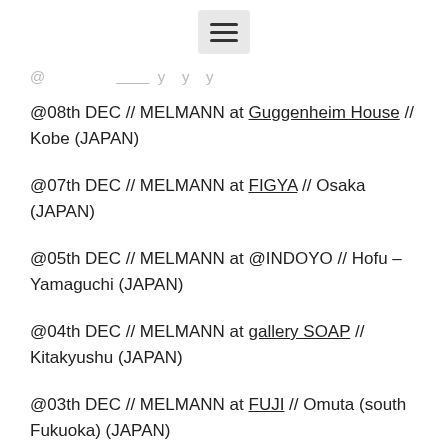[Figure (other): Hamburger menu icon button]
@ ... _____ y y y
@08th DEC // MELMANN at Guggenheim House // Kobe (JAPAN)
@07th DEC // MELMANN at FIGYA // Osaka (JAPAN)
@05th DEC // MELMANN at @INDOYO // Hofu – Yamaguchi (JAPAN)
@04th DEC // MELMANN at gallery SOAP // Kitakyushu (JAPAN)
@03th DEC // MELMANN at FUJI // Omuta (south Fukuoka) (JAPAN)
@02th DEC // MELMANN at GROOVE //